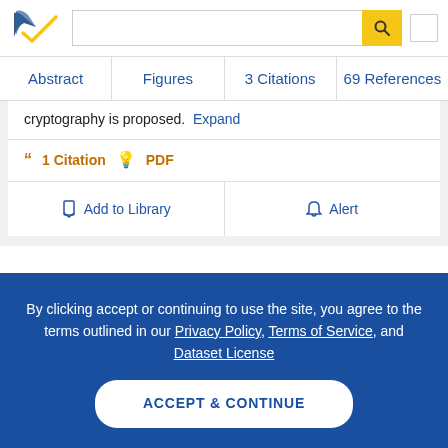Semantic Scholar - Search bar with logo
Abstract | Figures | 3 Citations | 69 References
cryptography is proposed.  Expand
1 Citation  PDF
Add to Library  Alert
By clicking accept or continuing to use the site, you agree to the terms outlined in our Privacy Policy, Terms of Service, and Dataset License
ACCEPT & CONTINUE